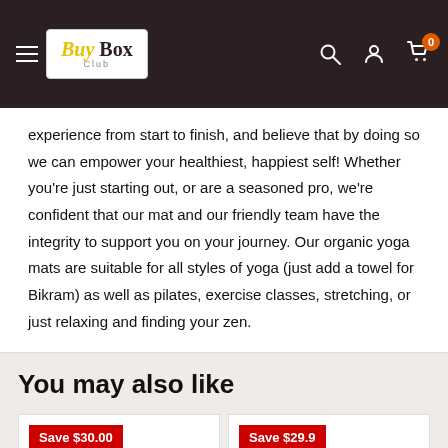BuyBox Club — navigation header
experience from start to finish, and believe that by doing so we can empower your healthiest, happiest self! Whether you're just starting out, or are a seasoned pro, we're confident that our mat and our friendly team have the integrity to support you on your journey. Our organic yoga mats are suitable for all styles of yoga (just add a towel for Bikram) as well as pilates, exercise classes, stretching, or just relaxing and finding your zen.
You may also like
[Figure (screenshot): Product card with Save $30.00 badge]
[Figure (screenshot): Product card with Save $29.9... badge, chat bubble overlay, and English language selector]